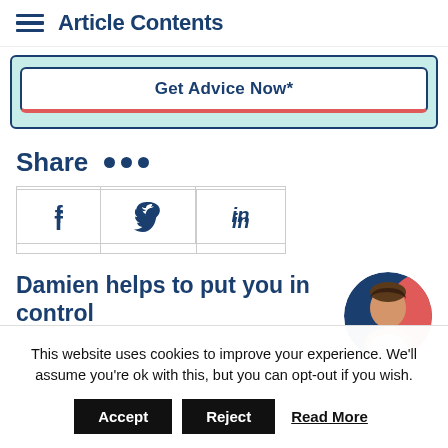Article Contents
[Figure (other): Get Advice Now* call-to-action button inside a teal/mint green bordered box]
Share •••
[Figure (other): Social share icons table with Facebook (f), Twitter (bird), and LinkedIn (in) icons in a 3-column bordered grid]
Damien helps to put you in control
[Figure (photo): Circular photo of a man (Damien) with dark hair, against a red and navy blue background]
This website uses cookies to improve your experience. We'll assume you're ok with this, but you can opt-out if you wish.